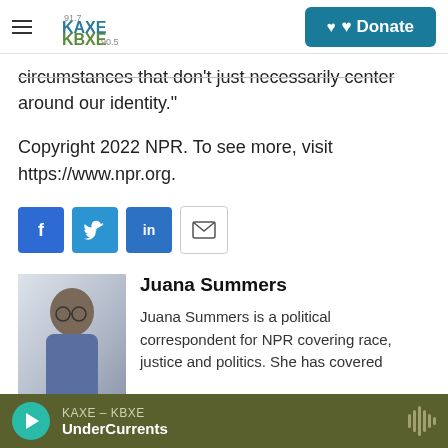KAXE KBXE 91.7 90.5 | Donate
circumstances that don't just necessarily center around our identity."
Copyright 2022 NPR. To see more, visit https://www.npr.org.
[Figure (infographic): Social sharing buttons: Facebook, Twitter, LinkedIn, Email]
[Figure (photo): Portrait photo of Juana Summers, a woman wearing glasses and a blue top]
Juana Summers
Juana Summers is a political correspondent for NPR covering race, justice and politics. She has covered
KAXE – KBXE | UnderCurrents